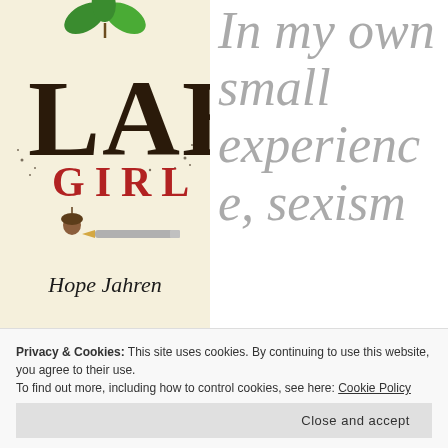[Figure (illustration): Book cover of 'Lab Girl' by Hope Jahren. Cream/beige background with 'LAB' spelled in dark soil/dirt letters with a small green plant sprouting from the top of the 'B'. Below 'LAB' is the word 'GIRL' in red serif letters. Below that is an acorn next to a small paintbrush or pencil. At the bottom is the author name 'Hope Jahren' in black serif italic font.]
In my own small experience, sexism
Privacy & Cookies: This site uses cookies. By continuing to use this website, you agree to their use.
To find out more, including how to control cookies, see here: Cookie Policy
Close and accept